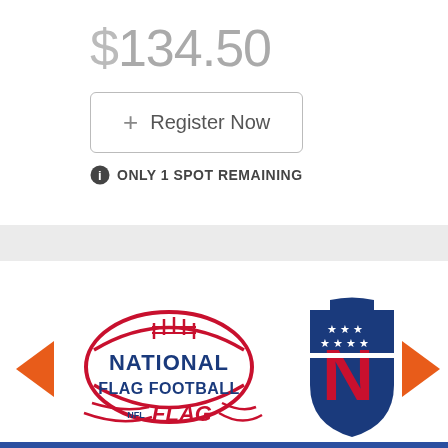$134.50
+ Register Now
ONLY 1 SPOT REMAINING
[Figure (logo): National Flag Football NFL FLAG logo - football shaped badge with red laces and swooshes, 'NATIONAL FLAG FOOTBALL' in blue text, NFL FLAG in red/blue below]
[Figure (logo): NFL shield logo partially visible - dark blue shield with stars and large red N]